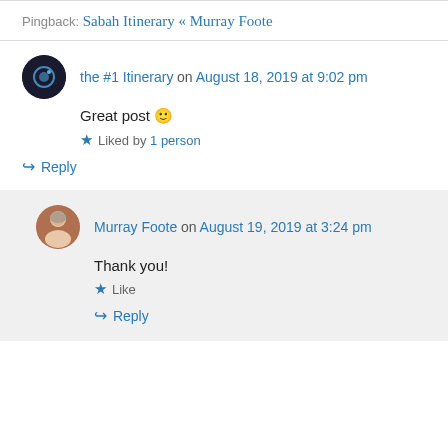Pingback: Sabah Itinerary « Murray Foote
the #1 Itinerary on August 18, 2019 at 9:02 pm
Great post 🙂
★ Liked by 1 person
↳ Reply
Murray Foote on August 19, 2019 at 3:24 pm
Thank you!
★ Like
↳ Reply